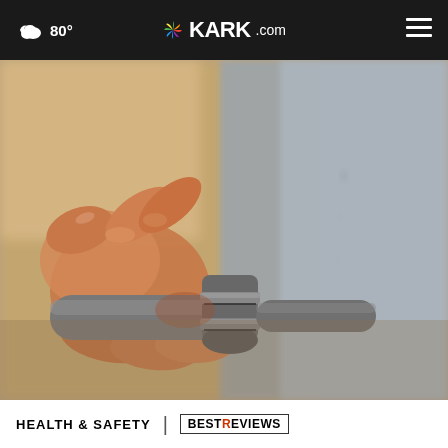80° KARK.com
[Figure (photo): Close-up of a hand turning a metal valve or faucet knob, with a blurred background showing a surface with markings]
HEALTH & SAFETY | BESTREVIEWS